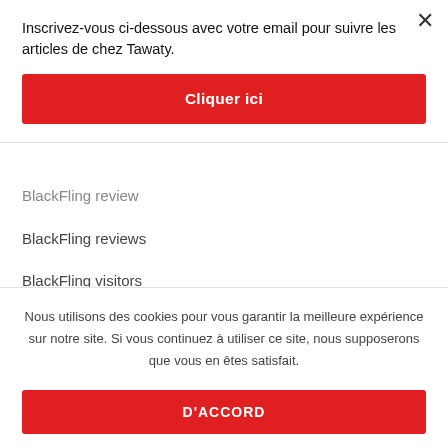Inscrivez-vous ci-dessous avec votre email pour suivre les articles de chez Tawaty.
Cliquer ici
BlackFling review
BlackFling reviews
BlackFling visitors
blackpeoplemeet chat
Blackpeoplemeet meetic site
Nous utilisons des cookies pour vous garantir la meilleure expérience sur notre site. Si vous continuez à utiliser ce site, nous supposerons que vous en êtes satisfait.
D'ACCORD